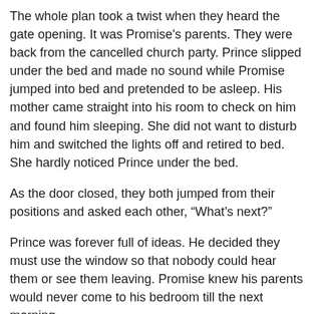The whole plan took a twist when they heard the gate opening. It was Promise's parents. They were back from the cancelled church party. Prince slipped under the bed and made no sound while Promise jumped into bed and pretended to be asleep. His mother came straight into his room to check on him and found him sleeping. She did not want to disturb him and switched the lights off and retired to bed. She hardly noticed Prince under the bed.
As the door closed, they both jumped from their positions and asked each other, “What’s next?”
Prince was forever full of ideas. He decided they must use the window so that nobody could hear them or see them leaving. Promise knew his parents would never come to his bedroom till the next morning.
At the bash, everyone was there and very much enjoying themselves. Even the boys from Olando East were there too.